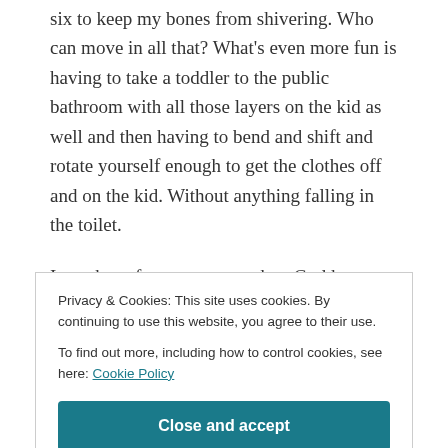six to keep my bones from shivering. Who can move in all that? What's even more fun is having to take a toddler to the public bathroom with all those layers on the kid as well and then having to bend and shift and rotate yourself enough to get the clothes off and on the kid. Without anything falling in the toilet.
I was born for warmer weather, God knew what He was doing, and my husband is right when he says I would not survive happily anywhere north of where we are.
Privacy & Cookies: This site uses cookies. By continuing to use this website, you agree to their use.
To find out more, including how to control cookies, see here: Cookie Policy
[Close and accept]
forced myself yesterday due to the frozen branches